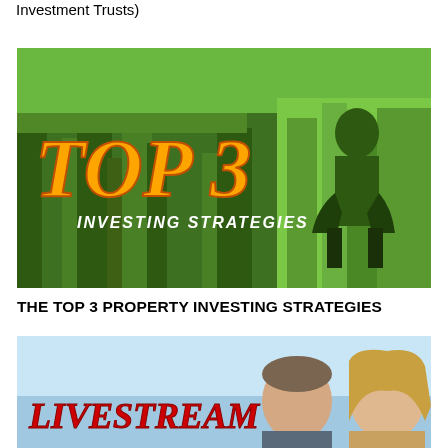Investment Trusts)
[Figure (illustration): Green-tinted image of a cityscape/rooftops with large orange bold italic text 'TOP 3' and below it 'INVESTING STRATEGIES', with a woman in a green dress standing to the right]
THE TOP 3 PROPERTY INVESTING STRATEGIES
[Figure (illustration): Light blue sky background image with two people (man and woman) visible from shoulders up on the right, and red bold italic text 'LIVESTREAM' on the left]